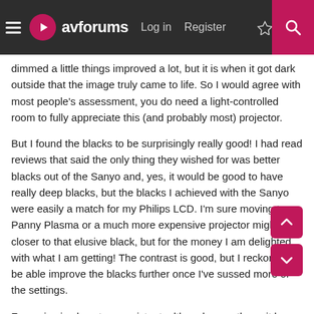avforums — Log in | Register
dimmed a little things improved a lot, but it is when it got dark outside that the image truly came to life. So I would agree with most people's assessment, you do need a light-controlled room to fully appreciate this (and probably most) projector.
But I found the blacks to be surprisingly really good! I had read reviews that said the only thing they wished for was better blacks out of the Sanyo and, yes, it would be good to have really deep blacks, but the blacks I achieved with the Sanyo were easily a match for my Philips LCD. I'm sure moving to a Panny Plasma or a much more expensive projector might get closer to that elusive black, but for the money I am delighted with what I am getting! The contrast is good, but I reckon I will be able improve the blacks further once I've sussed more of the settings.
Fan noise is almost non-existant, although once the unit has been on for a while and is hotter the fan increases speed and becomes more audible, but not to the level you really notice. If